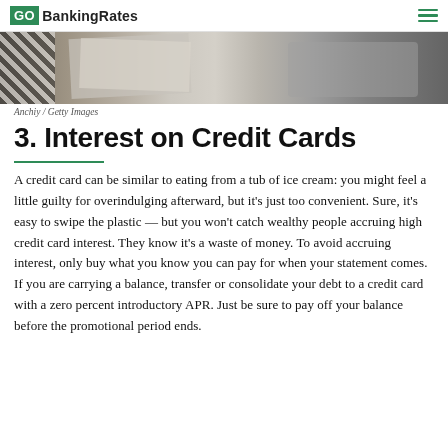GO BankingRates
[Figure (photo): Overhead view of a laptop, papers/documents on a patterned black and white tablecloth]
Anchiy / Getty Images
3. Interest on Credit Cards
A credit card can be similar to eating from a tub of ice cream: you might feel a little guilty for overindulging afterward, but it’s just too convenient. Sure, it’s easy to swipe the plastic — but you won’t catch wealthy people accruing high credit card interest. They know it’s a waste of money. To avoid accruing interest, only buy what you know you can pay for when your statement comes. If you are carrying a balance, transfer or consolidate your debt to a credit card with a zero percent introductory APR. Just be sure to pay off your balance before the promotional period ends.